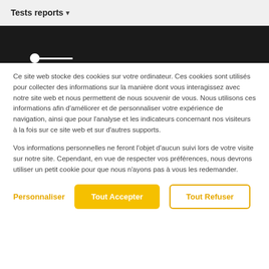Tests reports ▾
[Figure (screenshot): Dark navigation bar with a slider/scrubber control at the bottom showing a white circle and white track line]
Ce site web stocke des cookies sur votre ordinateur. Ces cookies sont utilisés pour collecter des informations sur la manière dont vous interagissez avec notre site web et nous permettent de nous souvenir de vous. Nous utilisons ces informations afin d'améliorer et de personnaliser votre expérience de navigation, ainsi que pour l'analyse et les indicateurs concernant nos visiteurs à la fois sur ce site web et sur d'autres supports.
Vos informations personnelles ne feront l'objet d'aucun suivi lors de votre visite sur notre site. Cependant, en vue de respecter vos préférences, nous devrons utiliser un petit cookie pour que nous n'ayons pas à vous les redemander.
Personnaliser | Tout Accepter | Tout Refuser